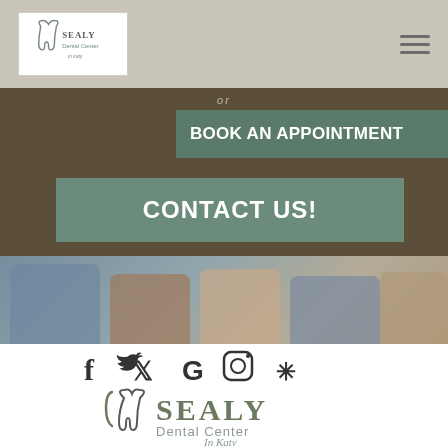Sealy Dental Center In Katy - navigation logo and hamburger menu
[Figure (screenshot): Hero section with dark brown background. 'OR' label at top, then 'BOOK AN APPOINTMENT' teal button on the right, then 'CONTACT US!' teal button centered. Bottom shows partial photo of people smiling.]
[Figure (infographic): Social media icons row: Facebook (f), Twitter (bird), Google (G), Instagram (camera), Yelp (asterisk/star)]
[Figure (logo): Sealy Dental Center In Katy logo - tooth outline graphic on left, SEALY in large serif uppercase, Dental Center below, In Katy in italic script]